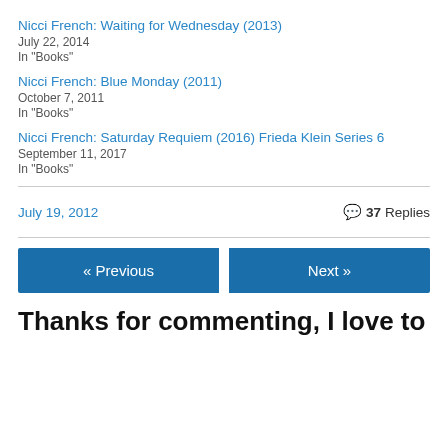Nicci French: Waiting for Wednesday (2013)
July 22, 2014
In "Books"
Nicci French: Blue Monday (2011)
October 7, 2011
In "Books"
Nicci French: Saturday Requiem (2016) Frieda Klein Series 6
September 11, 2017
In "Books"
July 19, 2012    💬 37 Replies
« Previous   Next »
Thanks for commenting, I love to